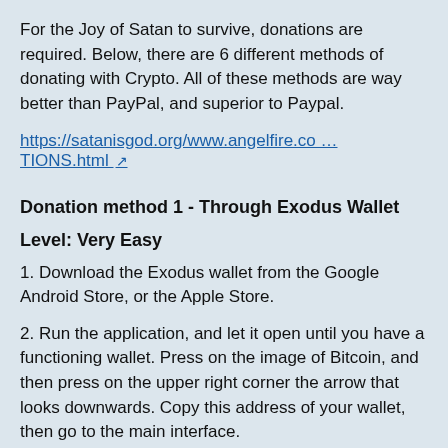For the Joy of Satan to survive, donations are required. Below, there are 6 different methods of donating with Crypto. All of these methods are way better than PayPal, and superior to Paypal.
https://satanisgod.org/www.angelfire.co ... TIONS.html
Donation method 1 - Through Exodus Wallet
Level: Very Easy
1. Download the Exodus wallet from the Google Android Store, or the Apple Store.
2. Run the application, and let it open until you have a functioning wallet. Press on the image of Bitcoin, and then press on the upper right corner the arrow that looks downwards. Copy this address of your wallet, then go to the main interface.
3. Go to the four squares on the bottom right logo, press it.
4. Then, the panel will appear that says "Buy Crypto". You press this the...